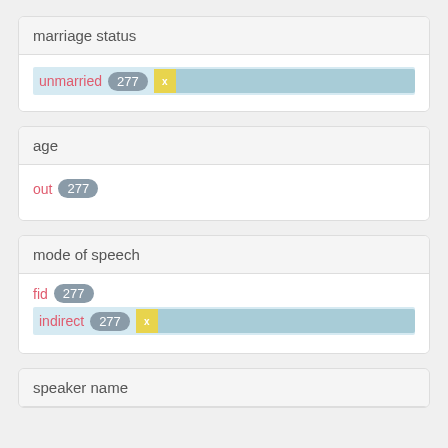marriage status
unmarried 277 x [bar]
age
out 277
mode of speech
fid 277
indirect 277 x [bar]
speaker name